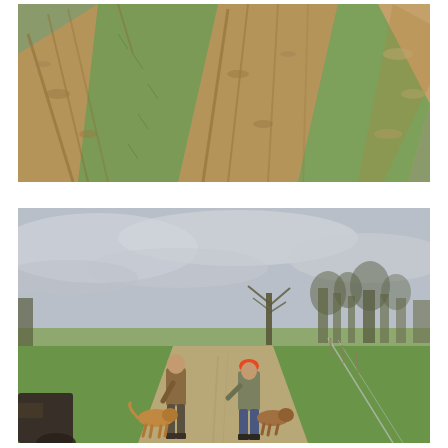[Figure (photo): Close-up photograph of muddy dirt tire tracks running diagonally across a grassy field, showing rutted soil with green grass strips between the tracks.]
[Figure (photo): Outdoor photograph of two people with dogs walking along a narrow dirt farm lane bordered by green grass fields and a fence line, with bare trees and an overcast grey sky in the background.]